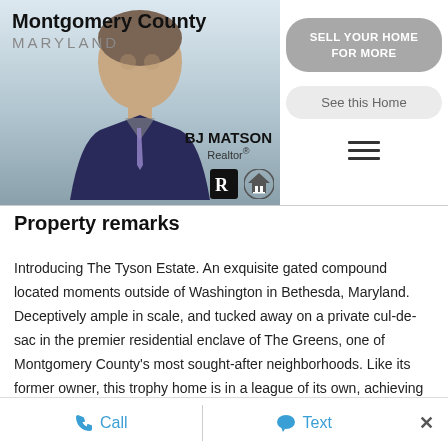[Figure (photo): Montgomery County Maryland realtor banner with agent photo of BJ Matson, Realtor. Includes 'SELL YOUR HOME FOR MORE' button, 'See this Home' button, hamburger menu icon, and Realtor/Equal Housing logos.]
Property remarks
Introducing The Tyson Estate. An exquisite gated compound located moments outside of Washington in Bethesda, Maryland. Deceptively ample in scale, and tucked away on a private cul-de-sac in the premier residential enclave of The Greens, one of Montgomery County's most sought-after neighborhoods. Like its former owner, this trophy home is in a league of its own, achieving unparalleled scale and quality. Beyond the gates sits a circular arrival court and three-car garage parking. Intricate iron and glass entry doors welcome guests to a sun-
Call   Text   ×